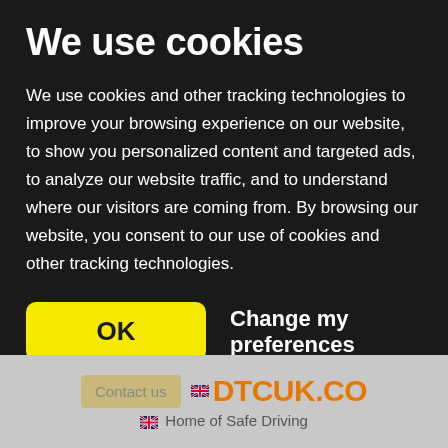We use cookies
We use cookies and other tracking technologies to improve your browsing experience on our website, to show you personalized content and targeted ads, to analyze our website traffic, and to understand where our visitors are coming from. By browsing our website, you consent to our use of cookies and other tracking technologies.
OK   Change my preferences
[Figure (screenshot): Website footer showing 'Contact us' button, DTCUK.CO logo in orange, and 'Home of Safe Driving' tagline with UK flag icon on a grey background.]